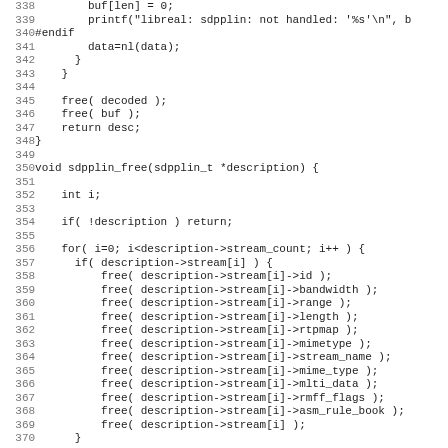Source code listing lines 338-370, C programming language, sdpplin_free function and related code